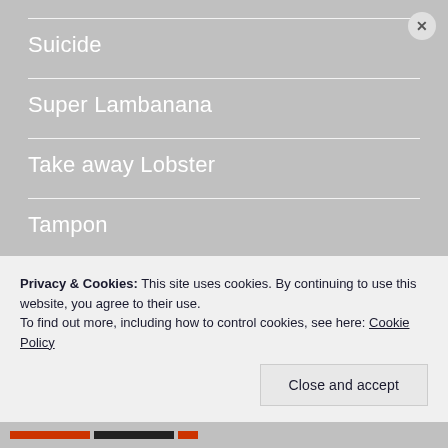Suicide
Super Lambanana
Take away Lobster
Tampon
Teenage Pregnancy
Terror Attack
Privacy & Cookies: This site uses cookies. By continuing to use this website, you agree to their use. To find out more, including how to control cookies, see here: Cookie Policy
Close and accept